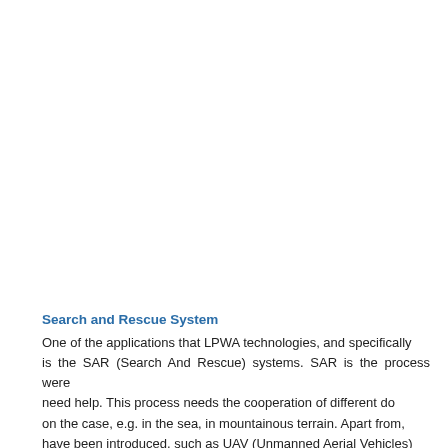Search and Rescue System
One of the applications that LPWA technologies, and specifically is the SAR (Search And Rescue) systems. SAR is the process were need help. This process needs the cooperation of different do on the case, e.g. in the sea, in mountainous terrain. Apart from, have been introduced, such as UAV (Unmanned Aerial Vehicles)